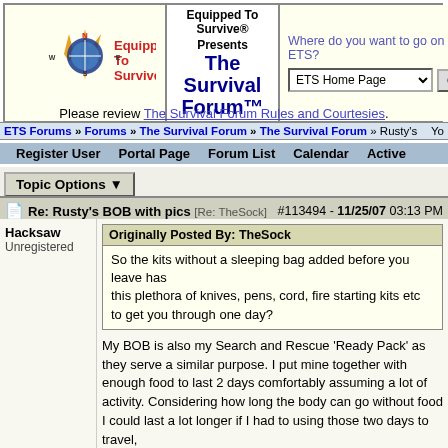[Figure (logo): Equipped To Survive logo with compass rose graphic]
Equipped To Survive® Presents The Survival Forum™
Where do you want to go on ETS? ETS Home Page [dropdown] Go
Please review The Survival Forum Rules and Courtesies.
ETS Forums » Forums » The Survival Forum » The Survival Forum » Rusty's
Register User   Portal Page   Forum List   Calendar   Active
Topic Options ▼
Re: Rusty's BOB with pics [Re: TheSock]   #113494 - 11/25/07 03:13 PM
Hacksaw
Unregistered
Originally Posted By: TheSock
So the kits without a sleeping bag added before you leave has
this plethora of knives, pens, cord, fire starting kits etc to get you through one day?
My BOB is also my Search and Rescue 'Ready Pack' as they serve a similar purpose. I put mine together with enough food to last 2 days comfortably assuming a lot of activity. Considering how long the body can go without food I could last a lot longer if I had to using those two days to travel,